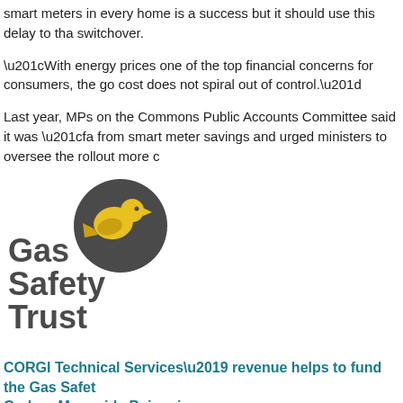smart meters in every home is a success but it should use this delay to tha switchover.
“With energy prices one of the top financial concerns for consumers, the go cost does not spiral out of control.”
Last year, MPs on the Commons Public Accounts Committee said it was “fa from smart meter savings and urged ministers to oversee the rollout more c
[Figure (logo): Gas Safety Trust logo with yellow bird on dark grey circle and grey text reading Gas Safety Trust]
CORGI Technical Services’ revenue helps to fund the Gas Safet Carbon Monoxide Poisoning